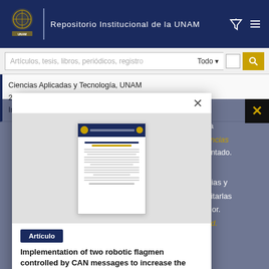Repositorio Institucional de la UNAM
Artículos, tesis, libros, periódicos, registros...  Todo
Ciencias Aplicadas y Tecnología, UNAM
2020-10-30
Ingenierías
[Figure (screenshot): Thumbnail preview of a document/article page from the UNAM repository journal]
Artículo
Implementation of two robotic flagmen controlled by CAN messages to increase the safety of human workers in road